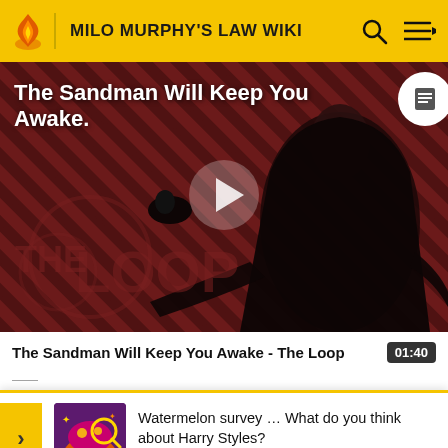MILO MURPHY'S LAW WIKI
[Figure (screenshot): Video thumbnail showing a dark-cloaked figure against a diagonal striped red/brown background with THE LOOP logo visible, and a play button in the center. Title text 'The Sandman Will Keep You Awake.' overlaid at top left.]
The Sandman Will Keep You Awake - The Loop
mak para from
[Figure (infographic): Survey popup banner with yellow arrow, decorative image, and text: 'Watermelon survey … What do you think about Harry Styles? TAKE THE SURVEY HERE']